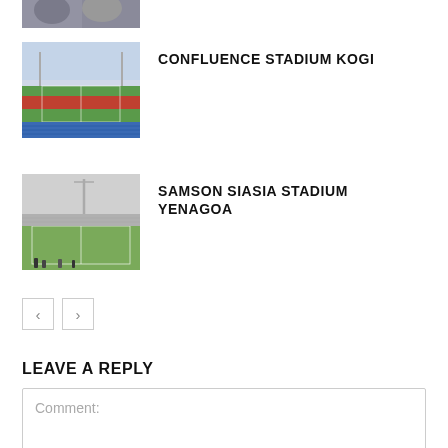[Figure (photo): Partial cropped photo at top, appears to show people, blurry]
[Figure (photo): Confluence Stadium Kogi - aerial/ground view of a stadium with red running track and green pitch, blue seats]
CONFLUENCE STADIUM KOGI
[Figure (photo): Samson Siasia Stadium Yenagoa - ground-level view of a football pitch, overcast sky, spectators in background]
SAMSON SIASIA STADIUM YENAGOA
< >
LEAVE A REPLY
Comment: